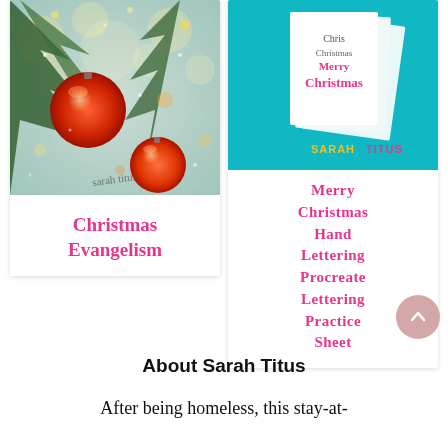[Figure (photo): Christmas ornaments on tree with bokeh lights, with 'sarah titus' watermark]
Christmas Evangelism
[Figure (photo): Merry Christmas hand lettering practice sheet cover on teal background with Sarah Titus branding]
Merry Christmas Hand Lettering Procreate Lettering Practice Sheet
About Sarah Titus
After being homeless, this stay-at-